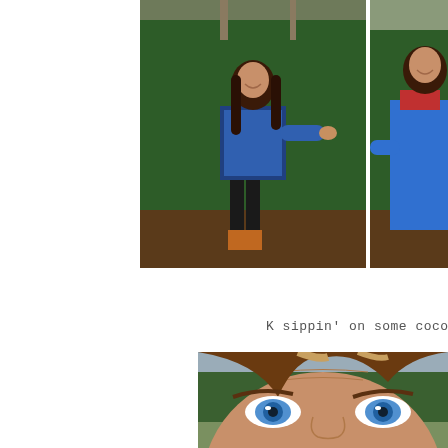[Figure (photo): Woman in blue plaid shirt and brown vest posing with Christmas trees at a tree farm, wearing orange boots]
[Figure (photo): Person in blue jacket hugging a Christmas tree at tree farm, partially visible on right edge]
K sippin' on some cocoa!
[Figure (photo): Close-up of a woman's face with blue eyes and highlighted brown hair, outdoors at tree farm]